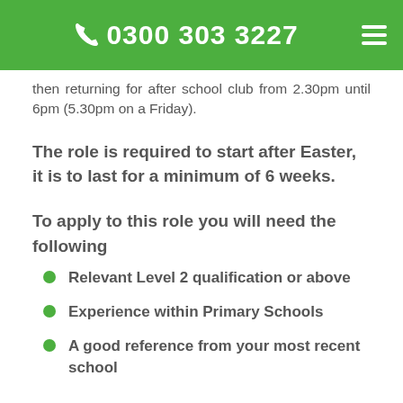0300 303 3227
then returning for after school club from 2.30pm until 6pm (5.30pm on a Friday).
The role is required to start after Easter, it is to last for a minimum of 6 weeks.
To apply to this role you will need the following
Relevant Level 2 qualification or above
Experience within Primary Schools
A good reference from your most recent school